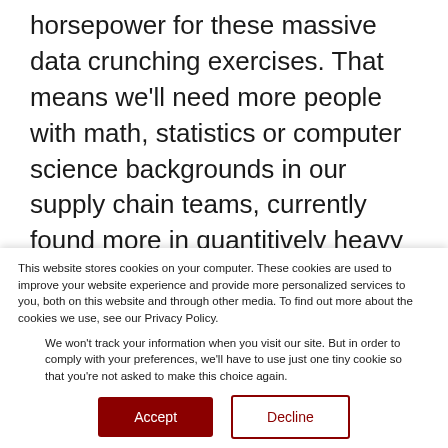horsepower for these massive data crunching exercises. That means we'll need more people with math, statistics or computer science backgrounds in our supply chain teams, currently found more in quantitively heavy areas outside of supply chain such as the sciences and R&D, or big data companies like Amazon, Google, and Facebook. These are
This website stores cookies on your computer. These cookies are used to improve your website experience and provide more personalized services to you, both on this website and through other media. To find out more about the cookies we use, see our Privacy Policy.
We won't track your information when you visit our site. But in order to comply with your preferences, we'll have to use just one tiny cookie so that you're not asked to make this choice again.
Accept
Decline